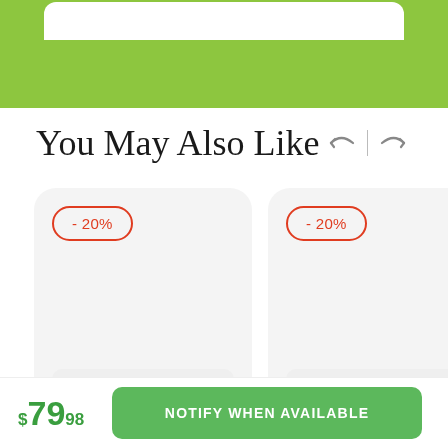You May Also Like
[Figure (screenshot): Two product cards each showing -20% discount badge on a light gray rounded card background. Partial third card visible on right edge.]
$79.98
NOTIFY WHEN AVAILABLE